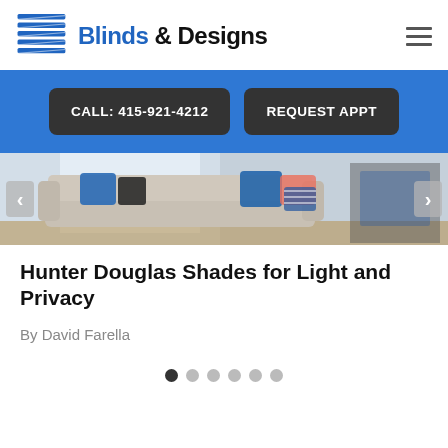[Figure (logo): Blinds & Designs logo with horizontal blue blind slats icon on left and text 'Blinds & Designs' on right]
[Figure (screenshot): Blue call-to-action bar with two dark buttons: 'CALL: 415-921-4212' and 'REQUEST APPT']
[Figure (photo): Interior living room photo showing a sofa with blue and pink pillows, with carousel left and right arrows]
Hunter Douglas Shades for Light and Privacy
By David Farella
[Figure (other): Carousel pagination dots: 6 dots, first one dark/active, rest light gray]